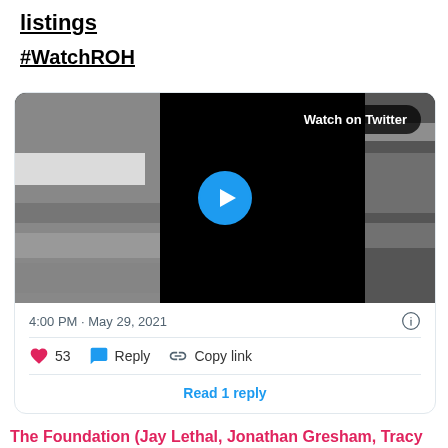listings
#WatchROH
[Figure (screenshot): Twitter/X video thumbnail showing a black and white abstract image with a play button overlay and 'Watch on Twitter' button]
4:00 PM · May 29, 2021
53  Reply  Copy link
Read 1 reply
The Foundation (Jay Lethal, Jonathan Gresham, Tracy